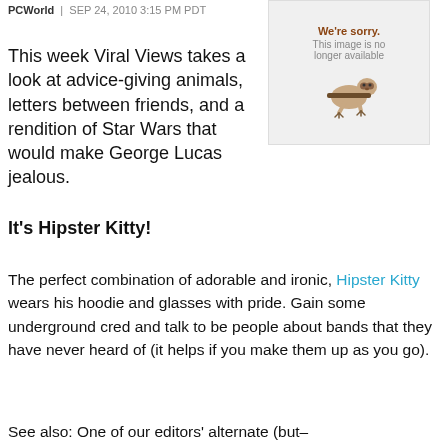PCWorld | SEP 24, 2010 3:15 PM PDT
This week Viral Views takes a look at advice-giving animals, letters between friends, and a rendition of Star Wars that would make George Lucas jealous.
[Figure (illustration): Image placeholder with 'We're sorry. This image is no longer available' text and a cartoon sloth illustration]
It's Hipster Kitty!
The perfect combination of adorable and ironic, Hipster Kitty wears his hoodie and glasses with pride. Gain some underground cred and talk to be people about bands that they have never heard of (it helps if you make them up as you go).
See also: One of our editors' alternate (but–